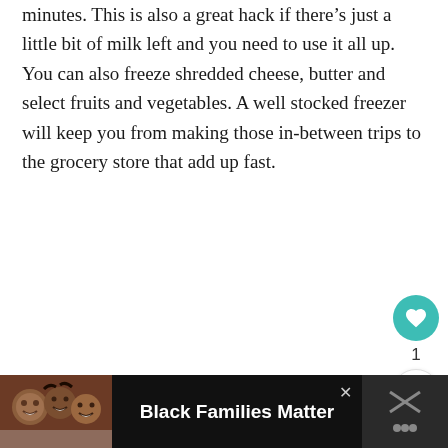minutes. This is also a great hack if there's just a little bit of milk left and you need to use it all up. You can also freeze shredded cheese, butter and select fruits and vegetables. A well stocked freezer will keep you from making those in-between trips to the grocery store that add up fast.
[Figure (other): Teal circular button with heart icon (favorite/like button), share button below, and count of 1]
[Figure (photo): Advertisement banner at bottom: photo of smiling Black family on left, text 'Black Families Matter' in center on dark background, close button and icon on right]